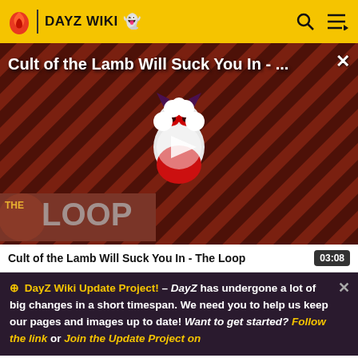DAYZ WIKI
[Figure (screenshot): Video thumbnail for 'Cult of the Lamb Will Suck You In - The Loop' showing animated lamb character on red diagonal striped background with THE LOOP logo and play button overlay]
Cult of the Lamb Will Suck You In - The Loop  03:08
DayZ Wiki Update Project! – DayZ has undergone a lot of big changes in a short timespan. We need you to help us keep our pages and images up to date! Want to get started? Follow the link or Join the Update Project on